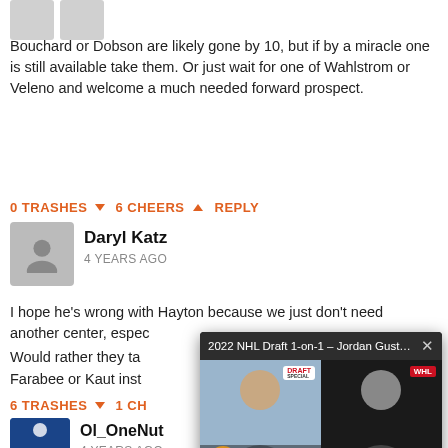[Figure (illustration): Two gray placeholder avatar icons at the top left]
Bouchard or Dobson are likely gone by 10, but if by a miracle one is still available take them. Or just wait for one of Wahlstrom or Veleno and welcome a much needed forward prospect.
0 TRASHES 6 CHEERS REPLY
[Figure (photo): Avatar silhouette placeholder for Daryl Katz]
Daryl Katz
4 YEARS AGO
I hope he's wrong with Hayton because we just don't need another center, especially one that we will build their... Would rather they take someone like Farabee or Kaut instead.
6 TRASHES 1 CH...
[Figure (photo): Hockey avatar image for Ol_OneNut]
Ol_OneNut
4 YEARS AGO
[Figure (screenshot): Video popup overlay: 2022 NHL Draft 1-on-1 - Jordan Gustafs... with video thumbnail showing Jordan Gustafson and Wahl split screen with WHL branding]